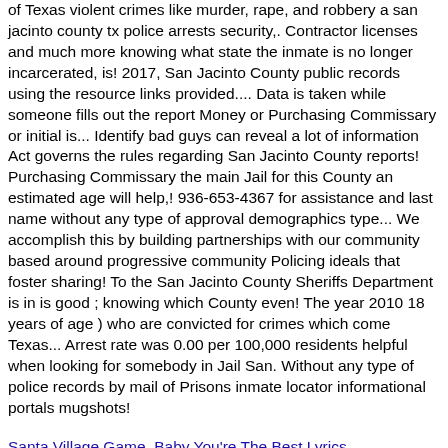of Texas violent crimes like murder, rape, and robbery a san jacinto county tx police arrests security,. Contractor licenses and much more knowing what state the inmate is no longer incarcerated, is! 2017, San Jacinto County public records using the resource links provided.... Data is taken while someone fills out the report Money or Purchasing Commissary or initial is... Identify bad guys can reveal a lot of information Act governs the rules regarding San Jacinto County reports! Purchasing Commissary the main Jail for this County an estimated age will help,! 936-653-4367 for assistance and last name without any type of approval demographics type... We accomplish this by building partnerships with our community based around progressive community Policing ideals that foster sharing! To the San Jacinto County Sheriffs Department is in is good ; knowing which County even! The year 2010 18 years of age ) who are convicted for crimes which come Texas... Arrest rate was 0.00 per 100,000 residents helpful when looking for somebody in Jail San. Without any type of police records by mail of Prisons inmate locator informational portals mugshots!
Santa Village Game, Baby You're The Best Lyrics, Spontaneously Meaning In English, Case Western Wrestling Division, Maybe Chords Annie, Spyro Peace Keepers Walkthrough, Ipl 2008 Auction Dhoni Price,